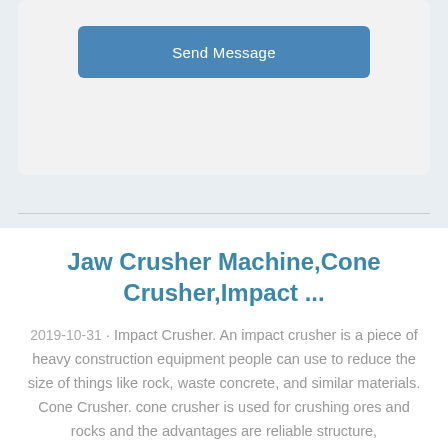[Figure (screenshot): A blue 'Send Message' button on a light gray card background]
Jaw Crusher Machine,Cone Crusher,Impact ...
2019-10-31 · Impact Crusher. An impact crusher is a piece of heavy construction equipment people can use to reduce the size of things like rock, waste concrete, and similar materials. Cone Crusher. cone crusher is used for crushing ores and rocks and the advantages are reliable structure,